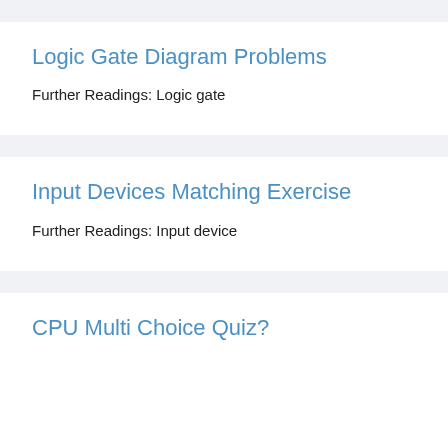Logic Gate Diagram Problems
Further Readings: Logic gate
Input Devices Matching Exercise
Further Readings: Input device
CPU Multi Choice Quiz?